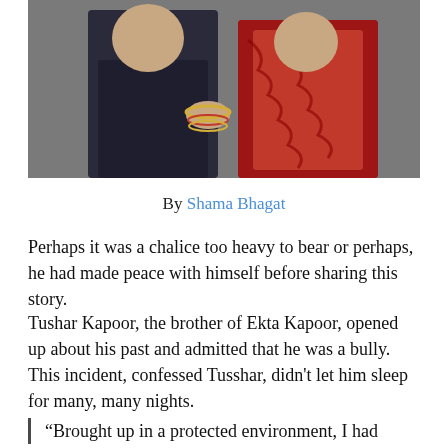[Figure (photo): Two people posing together — a man in a dark suit on the left and a woman in a red patterned outfit with bangles and rings on the right, against a grey background.]
By Shama Bhagat
Perhaps it was a chalice too heavy to bear or perhaps, he had made peace with himself before sharing this story.
Tushar Kapoor, the brother of Ekta Kapoor, opened up about his past and admitted that he was a bully. This incident, confessed Tusshar, didn't let him sleep for many, many nights.
“Brought up in a protected environment, I had